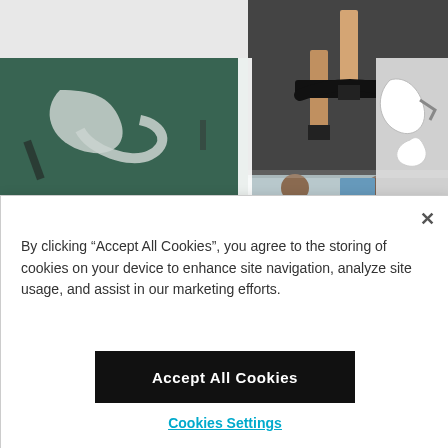[Figure (photo): Collage of four photos: top-left shows bicycle parts/components on a green cutting mat, top-center shows a cyclist on a stationary bike from waist down, top-right shows white 3D-printed bicycle parts with someone drawing, bottom-center shows two engineers working at laptops in a lab.]
By clicking “Accept All Cookies”, you agree to the storing of cookies on your device to enhance site navigation, analyze site usage, and assist in our marketing efforts.
Accept All Cookies
Cookies Settings